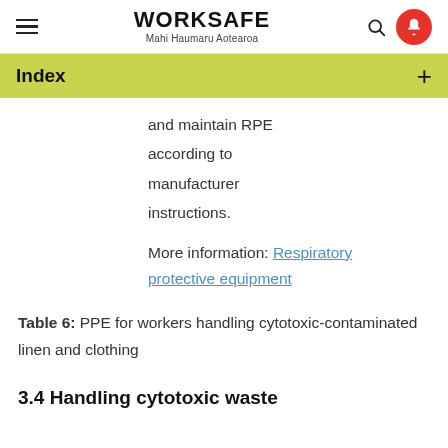WORKSAFE Mahi Haumaru Aotearoa
Index +
and maintain RPE according to manufacturer instructions.
More information: Respiratory protective equipment
Table 6: PPE for workers handling cytotoxic-contaminated linen and clothing
3.4 Handling cytotoxic waste